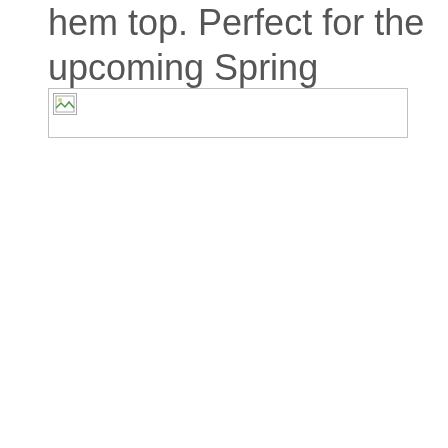hem top. Perfect for the upcoming Spring months!
[Figure (photo): Broken image placeholder — a small broken image icon inside a bordered rectangle, indicating a failed image load.]